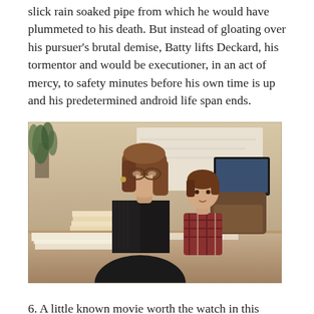slick rain soaked pipe from which he would have plummeted to his death. But instead of gloating over his pursuer's brutal demise, Batty lifts Deckard, his tormentor and would be executioner, in an act of mercy, to safety minutes before his own time is up and his predetermined android life span ends.
[Figure (photo): A woman wearing glasses and a dark blazer sits at an office desk covered with papers, with a young toddler in a plaid outfit seated beside her. Office items and a plant are visible in the background.]
6. A little known movie worth the watch in this theme is Baby Boom. Baby Boom stars Diane Keaton, a darling of the late 1970's through early 1990's cinema, (most particularly from Annie Hall, the